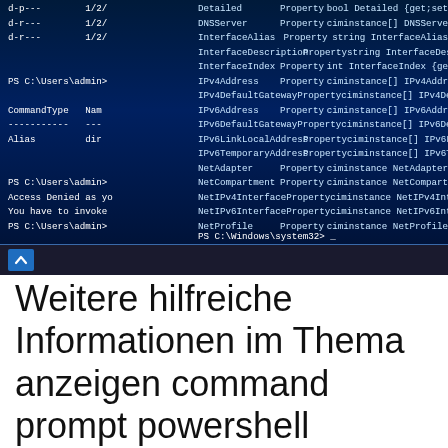[Figure (screenshot): PowerShell terminal window showing network interface properties including DNSServer, InterfaceAlias, InterfaceDescription, InterfaceIndex, IPv4Address, IPv4DefaultGateway, IPv6Address, IPv6DefaultGateway, IPv6LinkLocalAddress, IPv6TemporaryAddress, NetAdapter, NetCompartment, NetIPv4Interface, NetIPv6Interface, NetProfile properties listed as Property type with ciminstance types. Left side shows PS C:\Users\admin> prompt with CommandType/Name table and Alias entry, Access Denied message. Bottom shows PS C:\Windows\system32> prompt.]
Weitere hilfreiche Informationen im Thema anzeigen command prompt powershell